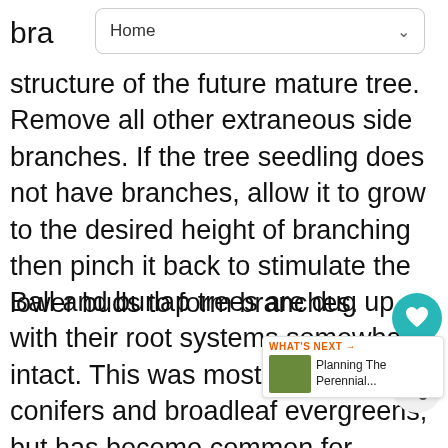bra
Home
structure of the future mature tree. Remove all other extraneous side branches. If the tree seedling does not have branches, allow it to grow to the desired height of branching then pinch it back to stimulate the lower buds to form branches.
Ball and burlap trees are dug up with their root systems somewhat intact. This was mostly done for conifers and broadleaf evergreens, but has become common for deciduous trees as well. Since some root mass is lost in the digging stage, a light pruning is generally called for. Head back the plant to compensate for this loss and to promote branching.